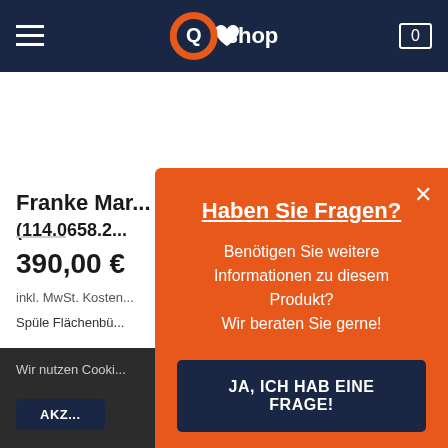[Figure (screenshot): Shop website navigation bar with dark navy background, hamburger menu icon, heart icon, Q shop logo (orange and blue circular logo with 'shop' text), and cart icon showing 0]
Franke Mar... (114.0658.2...
390,00 €
inkl. MwSt. Kosten...
Spüle Flächenbü...
Wir nutzen Cooki...
Haben Sie Fragen?
Benötigen Sie weitere Informationen zu diesem Produkt? Wir beraten Sie gerne!
JA, ICH HAB EINE FRAGE!
AKZ...